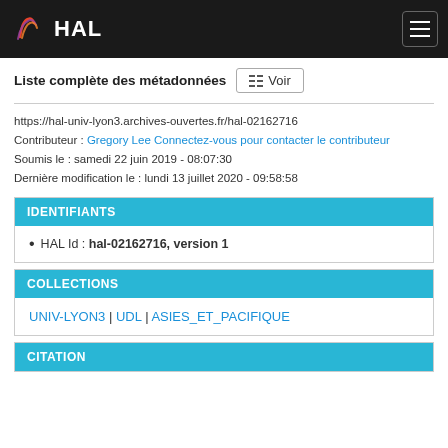HAL
Liste complète des métadonnées  Voir
https://hal-univ-lyon3.archives-ouvertes.fr/hal-02162716
Contributeur : Gregory Lee Connectez-vous pour contacter le contributeur
Soumis le : samedi 22 juin 2019 - 08:07:30
Dernière modification le : lundi 13 juillet 2020 - 09:58:58
IDENTIFIANTS
HAL Id : hal-02162716, version 1
COLLECTIONS
UNIV-LYON3 | UDL | ASIES_ET_PACIFIQUE
CITATION